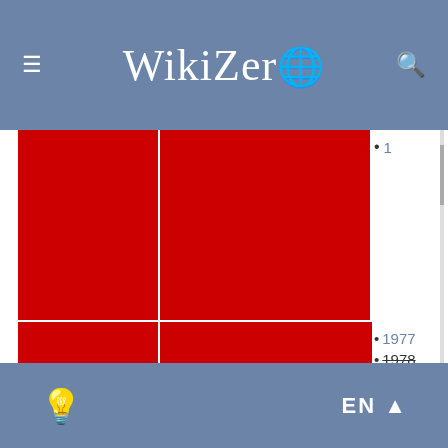WikiZero
|  | Competition | Years |
| --- | --- | --- |
| International | Intercontinental Cup | 1977, 1978 (struck), 1981, 1984 |
| International | FIFA Club World Cup Finals | 2005, 2019 |
EN ▲